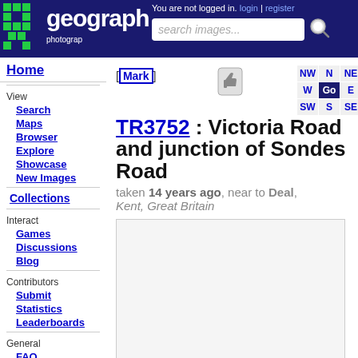Geograph - photographic project | You are not logged in | login | register | search images...
TR3752 : Victoria Road and junction of Sondes Road
taken 14 years ago, near to Deal, Kent, Great Britain
Home
View
Search
Maps
Browser
Explore
Showcase
New Images
Collections
Interact
Games
Discussions
Blog
Contributors
Submit
Statistics
Leaderboards
General
FAQ
Help Pages
Sitemap
Contact Us
Support Us
[Figure (photo): Photo placeholder for Victoria Road and junction of Sondes Road, Deal, Kent]